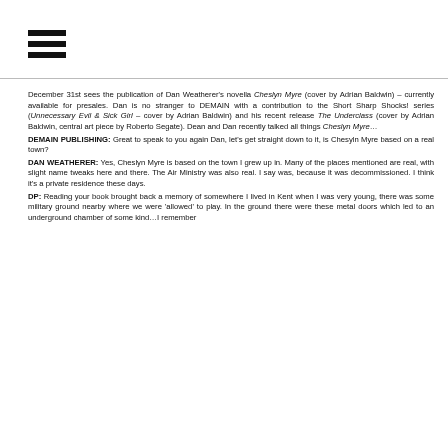☰ (hamburger menu icon)
December 31st sees the publication of Dan Weatherer's novella Cheslyn Myre (cover by Adrian Baldwin) – currently available for presales. Dan is no stranger to DEMAIN with a contribution to the Short Sharp Shocks! series (Unnecessary Evil & Sick Girl – cover by Adrian Baldwin) and his recent release The Underclass (cover by Adrian Baldwin, central art piece by Roberto Segate). Dean and Dan recently talked all things Cheslyn Myre…
DEMAIN PUBLISHING: Great to speak to you again Dan, let's get straight down to it, is Chesyln Myre based on a real town?
DAN WEATHERER: Yes, Cheslyn Myre is based on the town I grew up in. Many of the places mentioned are real, with slight name tweaks here and there. The Air Ministry was also real. I say was, because it was decommissioned. I think it's a private residence these days.
DP: Reading your book brought back a memory of somewhere I lived in Kent when I was very young, there was some military ground nearby where we were 'allowed' to play. In the ground there were these metal doors which led to an underground chamber of some kind…I remember